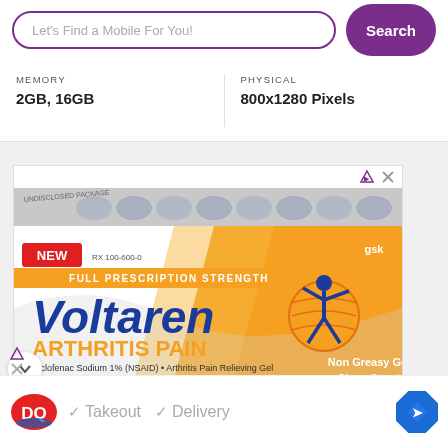Let's Find a Mobile For You!
Search
MEMORY
2GB, 16GB
PHYSICAL
800x1280 Pixels
[Figure (photo): Advertisement for Voltaren Arthritis Pain Diclofenac Sodium 1% (NSAID) Arthritis Pain Relieving Gel. Shows product box with 'NEW', 'FULL PRESCRIPTION STRENGTH', 'Non Greasy Gel Clean Scent', 'NET WT 3.53 oz (100 g)'. GSK logo visible.]
[Figure (photo): Advertisement for Dairy Queen (DQ) showing logo, checkmarks for Takeout and Delivery, and a navigation/directions icon.]